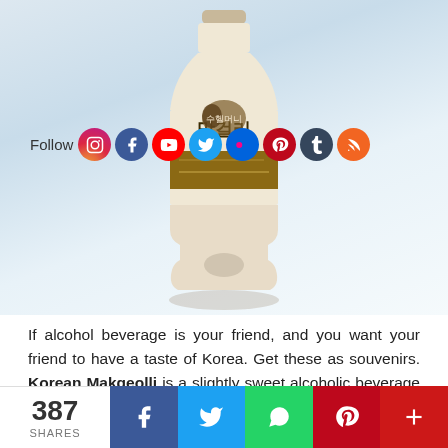[Figure (photo): A bottle of Korean Makgeolli (rice wine) with cream-colored label featuring Korean text and brown band, set against a light blue-white gradient background]
[Figure (infographic): Social media follow bar with icons for Instagram, Facebook, YouTube, Twitter, Flickr, Pinterest, Tumblr, and RSS]
If alcohol beverage is your friend, and you want your friend to have a taste of Korea. Get these as souvenirs. Korean Makgeolli is a slightly sweet alcoholic beverage native to Korea. It is made from rice or wheat mixed with nuruk, a Korean fermentation starter. It has a milky, off-white color and has about 6–8% alcohol by volume.
387 SHARES